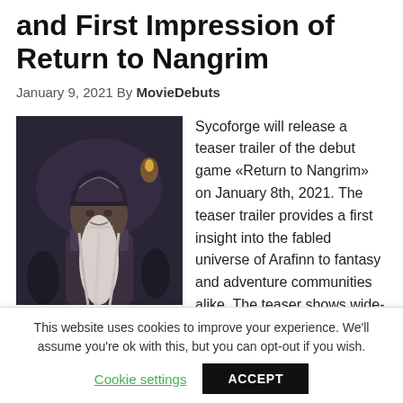and First Impression of Return to Nangrim
January 9, 2021 By MovieDebuts
[Figure (photo): A dwarf character in ornate armor with a long white beard, set against a dark fantasy battle scene background.]
Sycoforge will release a teaser trailer of the debut game «Return to Nangrim» on January 8th, 2021. The teaser trailer provides a first insight into the fabled universe of Arafinn to fantasy and adventure communities alike. The teaser shows wide-open landscapes with monumental dwarven statues, and a dwarf which though
This website uses cookies to improve your experience. We'll assume you're ok with this, but you can opt-out if you wish.
Cookie settings
ACCEPT